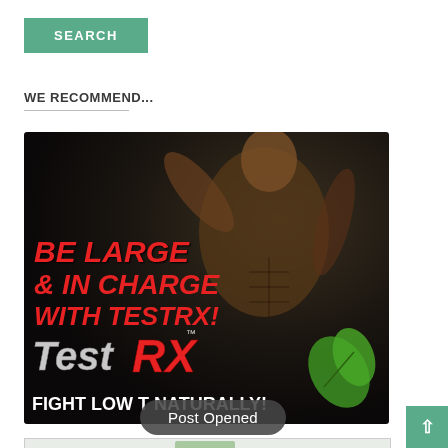SEARCH
WE RECOMMEND...
[Figure (photo): Advertisement image for TestRX supplement. Dark background with a muscular shirtless man flexing. Red bold text reads 'BE LARGE & IN CHARGE WITH TESTRX!' followed by the TestRX logo in silver and red, and white text 'FIGHT LOW T NATURALLY!' with a green leaf decoration.]
Post Opened
[Figure (photo): Second advertisement image partially visible at bottom of page.]